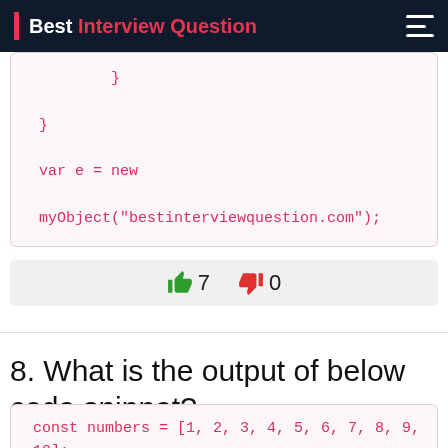Best Interview Question
}
}
var e = new
myObject("bestinterviewquestion.com");
👍7  👎0
8. What is the output of below code snippet?
const numbers = [1, 2, 3, 4, 5, 6, 7, 8, 9, 10];